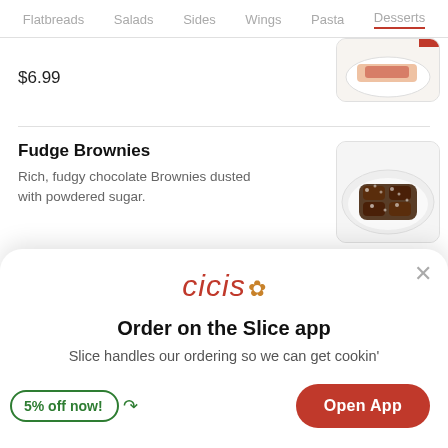Flatbreads  Salads  Sides  Wings  Pasta  Desserts
$6.99
Fudge Brownies
Rich, fudgy chocolate Brownies dusted with powdered sugar.
$6.99
[Figure (photo): cicis logo with flower icon]
Order on the Slice app
Slice handles our ordering so we can get cookin'
5% off now!
Open App